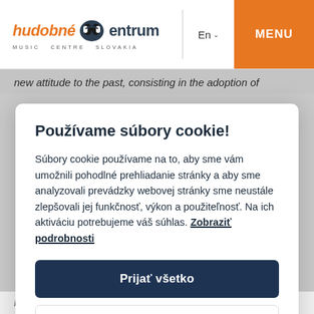[Figure (logo): Hudobné centrum / Music Centre Slovakia logo with orange and dark text]
En
MENU
new attitude to the past, consisting in the adoption of
Používame súbory cookie!
Súbory cookie používame na to, aby sme vám umožnili pohodlné prehliadanie stránky a aby sme analyzovali prevádzky webovej stránky sme neustále zlepšovali jej funkčnosť, výkon a použiteľnosť. Na ich aktiváciu potrebujeme váš súhlas. Zobraziť podrobnosti
Prijať všetko
Odmietnuť všetky
by a combination of two fundamental assumptions: relatively